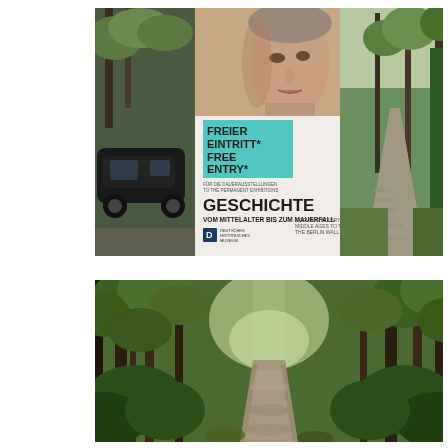[Figure (photo): Composite photo: left side shows a black car parked by trees, center shows a museum advertisement pillar/column with text 'FREIER EINTRITT* FREE ENTRY*' in teal and 'GESCHICHTE VOM MITTELALTER BIS ZUM MAUERFALL / GERMAN HISTORY FROM THE MIDDLE AGES TO THE FALL OF THE BERLIN WALL' in bold black, along with a classical sculpture face. Right side shows a tree-lined cobblestone path with a hedge.]
[Figure (photo): Forest path photo: a winding dirt trail through a lush green forest with tall trees and dense undergrowth on both sides.]